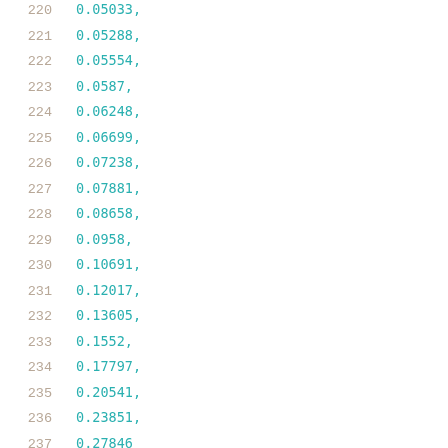220 ... 0.05288, 0.05554, 0.0587, 0.06248, 0.06699, 0.07238, 0.07881, 0.08658, 0.0958, 0.10691, 0.12017, 0.13605, 0.1552, 0.17797, 0.20541, 0.23851, 0.27846 ], [ 0.03918, 0.05058,